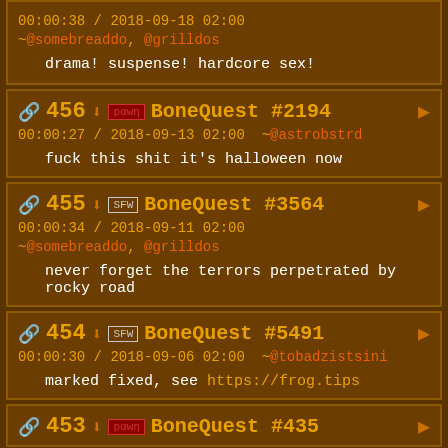00:00:38 / 2018-09-18 02:00 ~@somebreaddo, @grilldos
drama! suspense! hardcore sex!
456 BoneQuest #2194 00:00:27 / 2018-09-13 02:00 ~@astrobstrd
fuck this shit it's halloween now
455 SFW BoneQuest #3564 00:00:34 / 2018-09-11 02:00 ~@somebreaddo, @grilldos
never forget the terrors perpetrated by rocky road
454 SFW BoneQuest #5491 00:00:30 / 2018-09-06 02:00 ~@tobadzistsini
marked fixed, see https://frog.tips
453 BoneQuest #435